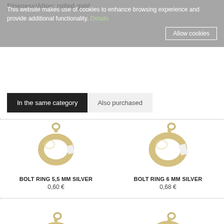Fineness/Alloy: rolled gold
This website makes use of cookies to enhance browsing experience and provide additional functionality. Details
Allow cookies
In the same category | Also purchased
[Figure (photo): Bolt ring 5.5mm silver clasp jewelry finding]
BOLT RING 5,5 MM SILVER
0,60 €
[Figure (photo): Bolt ring 6mm silver clasp jewelry finding]
BOLT RING 6 MM SILVER
0,68 €
[Figure (photo): Bolt ring clasp jewelry finding partially visible at bottom left]
[Figure (photo): Bolt ring clasp jewelry finding partially visible at bottom right]